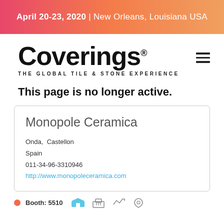April 20-23, 2020 | New Orleans, Louisiana USA
[Figure (logo): Coverings logo — THE GLOBAL TILE & STONE EXPERIENCE — with hamburger menu icon]
This page is no longer active.
Monopole Ceramica
Onda,  Castellon
Spain
011-34-96-3310946
http://www.monopoleceramica.com
Booth: 5510